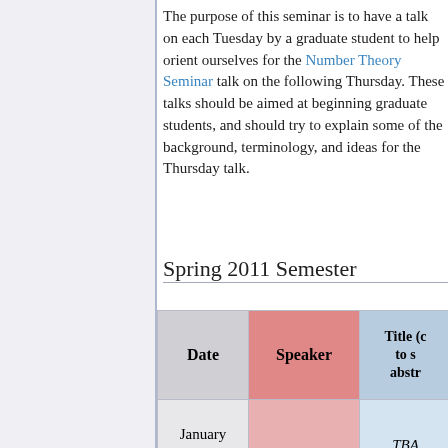The purpose of this seminar is to have a talk on each Tuesday by a graduate student to help orient ourselves for the Number Theory Seminar talk on the following Thursday. These talks should be aimed at beginning graduate students, and should try to explain some of the background, terminology, and ideas for the Thursday talk.
Spring 2011 Semester
| Date | Speaker | Title (click to see abstract) |
| --- | --- | --- |
| January 20 |  | TBA |